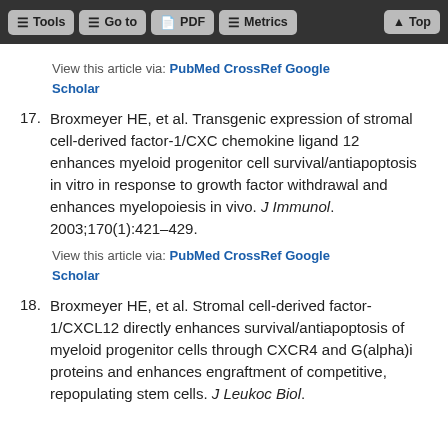Tools  Go to  PDF  Metrics  Top
View this article via: PubMed CrossRef Google Scholar
17. Broxmeyer HE, et al. Transgenic expression of stromal cell-derived factor-1/CXC chemokine ligand 12 enhances myeloid progenitor cell survival/antiapoptosis in vitro in response to growth factor withdrawal and enhances myelopoiesis in vivo. J Immunol. 2003;170(1):421–429.
View this article via: PubMed CrossRef Google Scholar
18. Broxmeyer HE, et al. Stromal cell-derived factor-1/CXCL12 directly enhances survival/antiapoptosis of myeloid progenitor cells through CXCR4 and G(alpha)i proteins and enhances engraftment of competitive, repopulating stem cells. J Leukoc Biol.